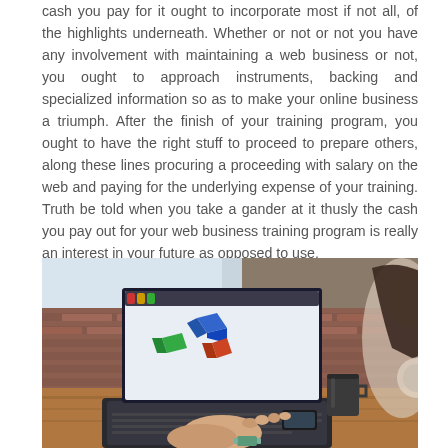cash you pay for it ought to incorporate most if not all, of the highlights underneath. Whether or not or not you have any involvement with maintaining a web business or not, you ought to approach instruments, backing and specialized information so as to make your online business a triumph. After the finish of your training program, you ought to have the right stuff to proceed to prepare others, along these lines procuring a proceeding with salary on the web and paying for the underlying expense of your training. Truth be told when you take a gander at it thusly the cash you pay out for your web business training program is really an interest in your future as opposed to use.
[Figure (photo): Person typing on a laptop computer at a wooden desk. The laptop screen shows a 3D modeling or design software with colorful shapes. A coffee cup and phone are visible on the desk. Brick wall in the background. Another person partially visible on the right edge.]